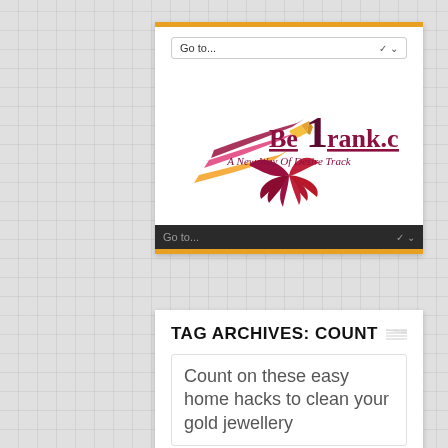[Figure (logo): Be1rank.com logo with pencil/streak graphic and tagline 'A New Way Of Desire Track']
TAG ARCHIVES: COUNT
Count on these easy home hacks to clean your gold jewellery